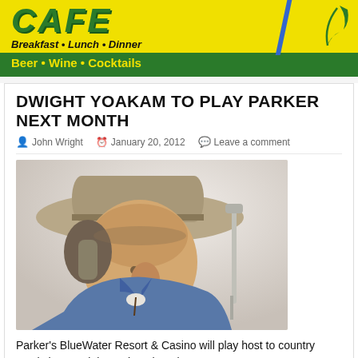[Figure (infographic): Cafe banner advertisement with yellow background, green text reading CAFE, subtitle Breakfast • Lunch • Dinner, and green bar with yellow text Beer • Wine • Cocktails, with blue diagonal line and decorative element on right]
DWIGHT YOAKAM TO PLAY PARKER NEXT MONTH
John Wright   January 20, 2012   Leave a comment
[Figure (photo): Photo of Dwight Yoakam wearing a cowboy hat, looking down, in a blue denim jacket, white background, profile/side view]
Parker's BlueWater Resort & Casino will play host to country music icon Dwight Yoakam in February.